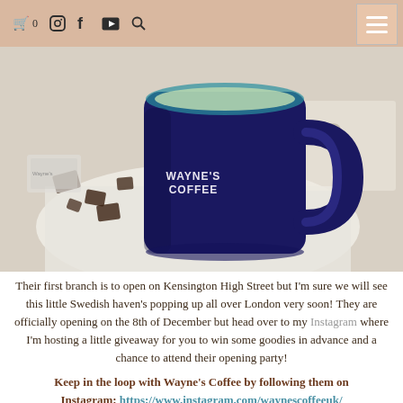🛒 0  Instagram  Facebook  YouTube  Search  [menu]
[Figure (photo): A navy blue Wayne's Coffee branded ceramic mug on a white cloth with scattered dark chocolate pieces in the background, on a white wooden surface.]
Their first branch is to open on Kensington High Street but I'm sure we will see this little Swedish haven's popping up all over London very soon! They are officially opening on the 8th of December but head over to my Instagram where I'm hosting a little giveaway for you to win some goodies in advance and a chance to attend their opening party!
Keep in the loop with Wayne's Coffee by following them on Instagram: https://www.instagram.com/waynescoffeeuk/